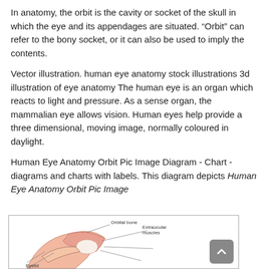In anatomy, the orbit is the cavity or socket of the skull in which the eye and its appendages are situated. “Orbit” can refer to the bony socket, or it can also be used to imply the contents.
Vector illustration. human eye anatomy stock illustrations 3d illustration of eye anatomy The human eye is an organ which reacts to light and pressure. As a sense organ, the mammalian eye allows vision. Human eyes help provide a three dimensional, moving image, normally coloured in daylight.
Human Eye Anatomy Orbit Pic Image Diagram - Chart - diagrams and charts with labels. This diagram depicts Human Eye Anatomy Orbit Pic Image
[Figure (illustration): Partial view of a human eye anatomy diagram showing orbital bone, eyelid, and extraocular muscles with labels.]